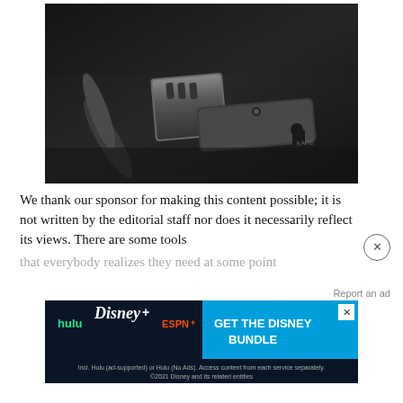[Figure (photo): Close-up photo of dark metallic tools/hardware on a black surface, including what appears to be a utility knife or box cutter blade component and a multi-function tool]
We thank our sponsor for making this content possible; it is not written by the editorial staff nor does it necessarily reflect its views. There are some tools that everybody realizes they need at some point
Report an ad
[Figure (screenshot): Disney Bundle advertisement showing Hulu, Disney+, and ESPN+ logos with text 'GET THE DISNEY BUNDLE'. Includes fine print: 'Incl. Hulu (ad-supported) or Hulu (No Ads). Access content from each service separately. ©2021 Disney and its related entities']